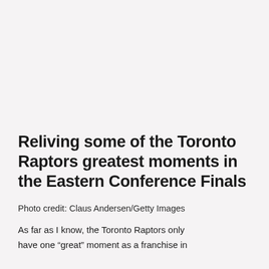Reliving some of the Toronto Raptors greatest moments in the Eastern Conference Finals
Photo credit: Claus Andersen/Getty Images
As far as I know, the Toronto Raptors only have one “great” moment as a franchise in the Eastern Conference